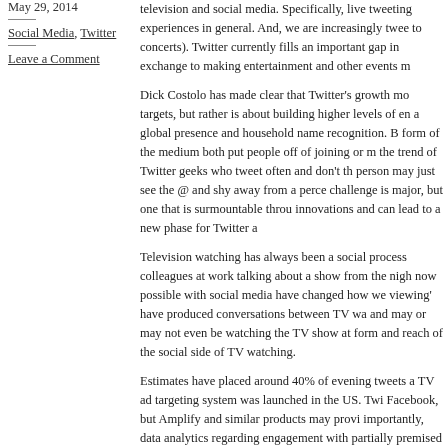May 29, 2014
Social Media, Twitter
Leave a Comment
television and social media. Specifically, live tweeting experiences in general. And, we are increasingly tweeting to concerts). Twitter currently fills an important gap in exchange to making entertainment and other events m
Dick Costolo has made clear that Twitter's growth model targets, but rather is about building higher levels of engagement, a global presence and household name recognition. Both form of the medium both put people off of joining or making the trend of Twitter geeks who tweet often and don't think person may just see the @ and shy away from a perceived challenge is major, but one that is surmountable through innovations and can lead to a new phase for Twitter and
Television watching has always been a social process, colleagues at work talking about a show from the night before; now possible with social media have changed how we viewing' have produced conversations between TV watchers and may or may not even be watching the TV show at form and reach of the social side of TV watching.
Estimates have placed around 40% of evening tweets a TV ad targeting system was launched in the US. Twitter Facebook, but Amplify and similar products may provide importantly, data analytics regarding engagement with partially premised on the fact that users tweeting about